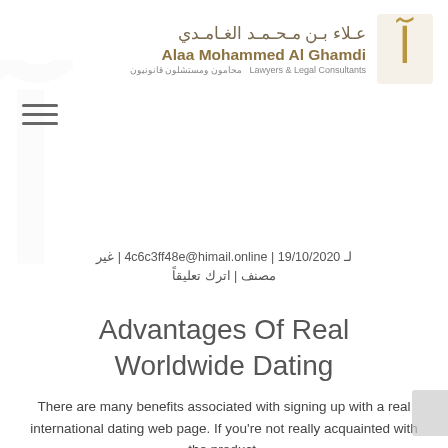عـلاء بـن مـحـمـد الغـامدي | Alaa Mohammed Al Ghamdi | Lawyers & Legal Consultants | محامون ومستشلون قانونيون
لـ 19/10/2020 | 4c6c3ff48e@himail.online | غير مصنف | اترك تعليقاً
Advantages Of Real Worldwide Dating
There are many benefits associated with signing up with a real international dating web page. If you're not really acquainted with the product,